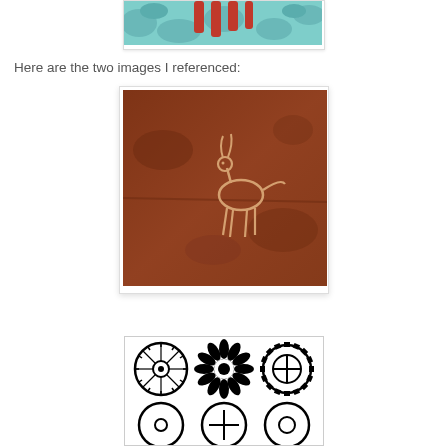[Figure (photo): Partial top view of a colorful artwork with teal/green background and red/orange shapes, cropped at top of page]
Here are the two images I referenced:
[Figure (photo): Petroglyph carved on reddish-brown rock surface showing an animal figure (likely a goat or deer) with curved horns/antennae and stick legs]
[Figure (illustration): Collection of black circular symbols/icons arranged in a grid: wheel-like, sunflower, gear/sun symbols in top row, and more circular symbols partially visible in bottom row]